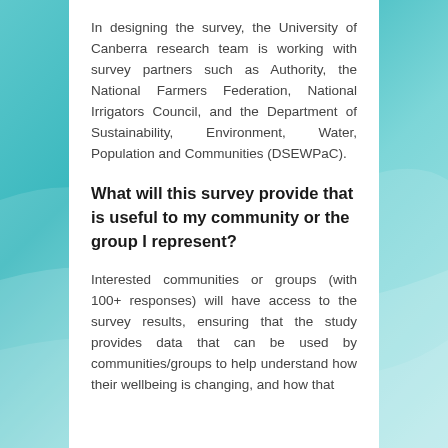In designing the survey, the University of Canberra research team is working with survey partners such as Authority, the National Farmers Federation, National Irrigators Council, and the Department of Sustainability, Environment, Water, Population and Communities (DSEWPaC).
What will this survey provide that is useful to my community or the group I represent?
Interested communities or groups (with 100+ responses) will have access to the survey results, ensuring that the study provides data that can be used by communities/groups to help understand how their wellbeing is changing, and how that